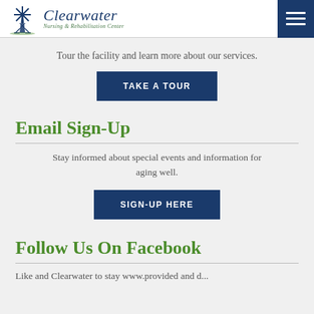[Figure (logo): Clearwater Nursing & Rehabilitation Center logo with windmill illustration and script text]
Tour the facility and learn more about our services.
TAKE A TOUR
Email Sign-Up
Stay informed about special events and information for aging well.
SIGN-UP HERE
Follow Us On Facebook